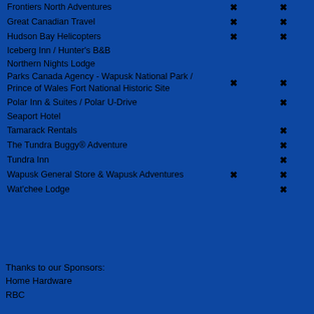| Organization | Col1 | Col2 |
| --- | --- | --- |
| Frontiers North Adventures | X | X |
| Great Canadian Travel | X | X |
| Hudson Bay Helicopters | X | X |
| Iceberg Inn / Hunter's B&B |  |  |
| Northern Nights Lodge |  |  |
| Parks Canada Agency - Wapusk National Park / Prince of Wales Fort National Historic Site | X | X |
| Polar Inn & Suites / Polar U-Drive |  | X |
| Seaport Hotel |  |  |
| Tamarack Rentals |  | X |
| The Tundra Buggy® Adventure |  | X |
| Tundra Inn |  | X |
| Wapusk General Store & Wapusk Adventures | X | X |
| Wat'chee Lodge |  | X |
Thanks to our Sponsors:
Home Hardware
RBC